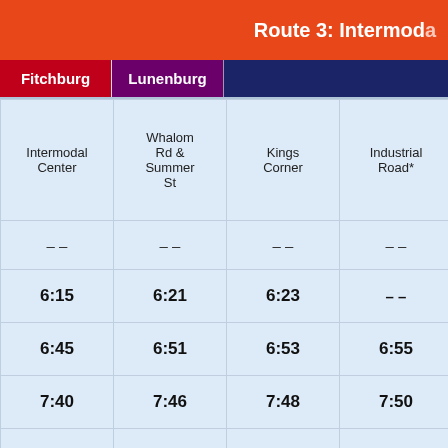Route 3: Intermodal
| Fitchburg | Lunenburg |  |  |
| --- | --- | --- | --- |
| Intermodal Center | Whalom Rd & Summer St | Kings Corner | Industrial Road* |
| –  – | –  – | –  – | –  – |
| 6:15 | 6:21 | 6:23 | –  – |
| 6:45 | 6:51 | 6:53 | 6:55 |
| 7:40 | 7:46 | 7:48 | 7:50 |
| 8:40 | 8:46 | 8:48 | –  – |